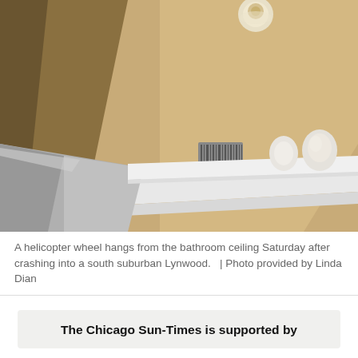[Figure (photo): Interior photo looking up at a bathroom ceiling area with warm tan/beige walls, white crown molding, a round ceiling light fixture at top center, a barcode-like vent/register on the wall, decorative white objects on a shelf ledge, and a metallic/silver angled surface in the lower left (the helicopter wheel or component coming through the ceiling).]
A helicopter wheel hangs from the bathroom ceiling Saturday after crashing into a south suburban Lynwood.   | Photo provided by Linda Dian
The Chicago Sun-Times is supported by